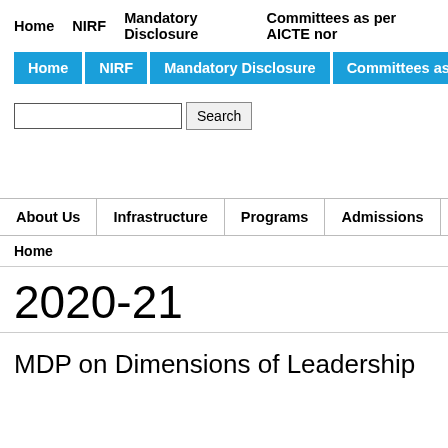Home   NIRF   Mandatory Disclosure   Committees as per AICTE nor
Home   NIRF   Mandatory Disclosure   Committees as per AICTE norm
Search
About Us   Infrastructure   Programs   Admissions   Faculty
Home
2020-21
MDP on Dimensions of Leadership